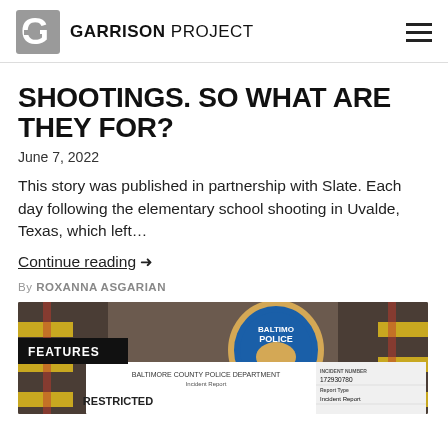GARRISON PROJECT
SHOOTINGS. SO WHAT ARE THEY FOR?
June 7, 2022
This story was published in partnership with Slate. Each day following the elementary school shooting in Uvalde, Texas, which left...
Continue reading →
By ROXANNA ASGARIAN
[Figure (photo): A photo showing a Baltimore Police badge and a Baltimore County Police Department Incident Report marked RESTRICTED, with a report number 172930780, labeled as FEATURES]